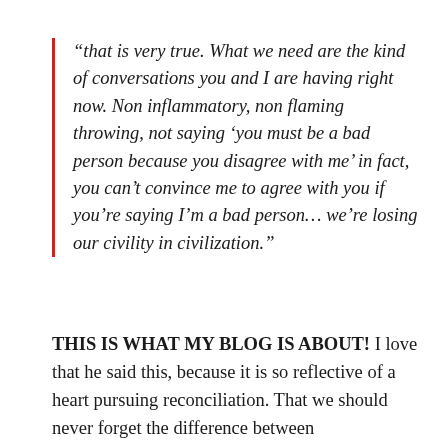“that is very true. What we need are the kind of conversations you and I are having right now. Non inflammatory, non flaming throwing, not saying ‘you must be a bad person because you disagree with me’ in fact, you can’t convince me to agree with you if you’re saying I’m a bad person… we’re losing our civility in civilization.”
THIS IS WHAT MY BLOG IS ABOUT! I love that he said this, because it is so reflective of a heart pursuing reconciliation. That we should never forget the difference between righteousness and rudeness. It is one of the best statements, I believe, he has made on this